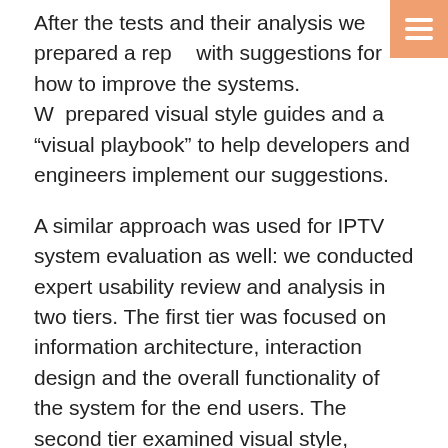After the tests and their analysis we prepared a report with suggestions for how to improve the systems. We prepared visual style guides and a “visual playbook” to help developers and engineers implement our suggestions.
A similar approach was used for IPTV system evaluation as well: we conducted expert usability review and analysis in two tiers. The first tier was focused on information architecture, interaction design and the overall functionality of the system for the end users. The second tier examined visual style, language and metaphors, identifying design flaws and inconsistencies within the user experience.
Almost the same approach was used for the client’s website, with a total of 26 users testing their website through several different scenarios over the course of six days using our proprietary UX Passion usability methodology.